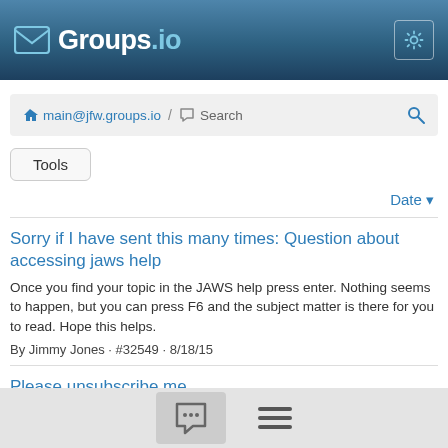Groups.io
main@jfw.groups.io / Search
Tools
Date
Sorry if I have sent this many times: Question about accessing jaws help
Once you find your topic in the JAWS help press enter. Nothing seems to happen, but you can press F6 and the subject matter is there for you to read. Hope this helps.
By Jimmy Jones · #32549 · 8/18/15
Please unsubscribe me